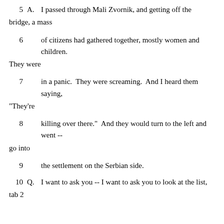5    A.   I passed through Mali Zvornik, and getting off the bridge, a mass
6    of citizens had gathered together, mostly women and children. They were
7    in a panic.  They were screaming.  And I heard them saying, "They're
8    killing over there."  And they would turn to the left and went -- go into
9    the settlement on the Serbian side.
10    Q.   I want to ask you -- I want to ask you to look at the list, tab 2